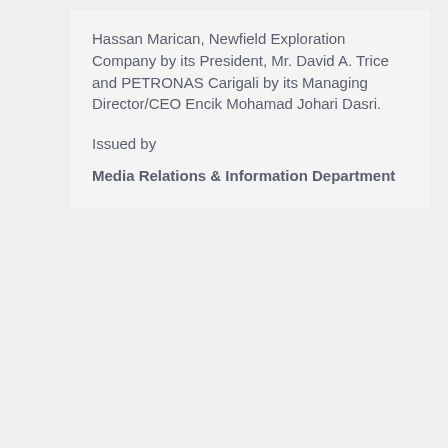Hassan Marican, Newfield Exploration Company by its President, Mr. David A. Trice and PETRONAS Carigali by its Managing Director/CEO Encik Mohamad Johari Dasri.
Issued by
Media Relations & Information Department